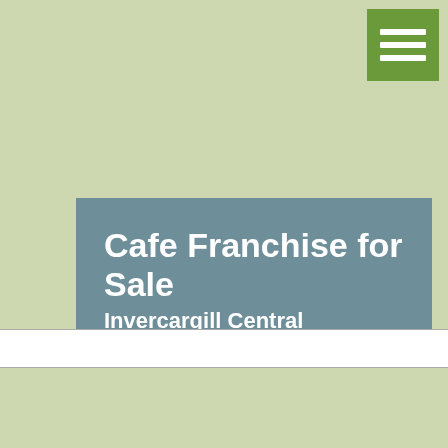[Figure (other): Hamburger menu icon button — three white horizontal bars on a green square background, positioned top-right]
Cafe Franchise for Sale
Invercargill Central
$480,000
The Coffee Club Invercargill Central. Opening August 2022!
[more +]